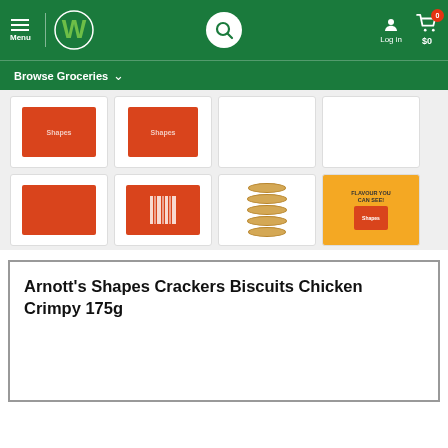Menu | Woolworths | Search | Log in | $0
Browse Groceries
[Figure (screenshot): Product image gallery showing 8 thumbnail images of Arnott's Shapes Chicken Crimpy biscuit packaging in two rows of four]
Arnott's Shapes Crackers Biscuits Chicken Crimpy 175g